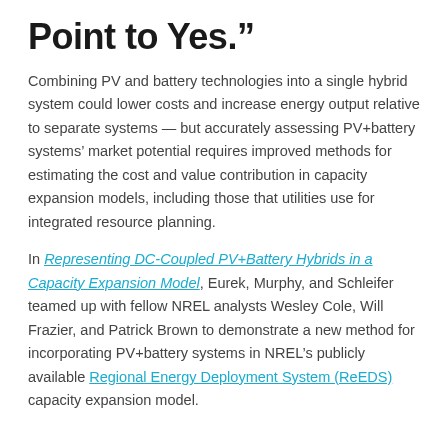Point to Yes.”
Combining PV and battery technologies into a single hybrid system could lower costs and increase energy output relative to separate systems — but accurately assessing PV+battery systems’ market potential requires improved methods for estimating the cost and value contribution in capacity expansion models, including those that utilities use for integrated resource planning.
In Representing DC-Coupled PV+Battery Hybrids in a Capacity Expansion Model, Eurek, Murphy, and Schleifer teamed up with fellow NREL analysts Wesley Cole, Will Frazier, and Patrick Brown to demonstrate a new method for incorporating PV+battery systems in NREL’s publicly available Regional Energy Deployment System (ReEDS) capacity expansion model.